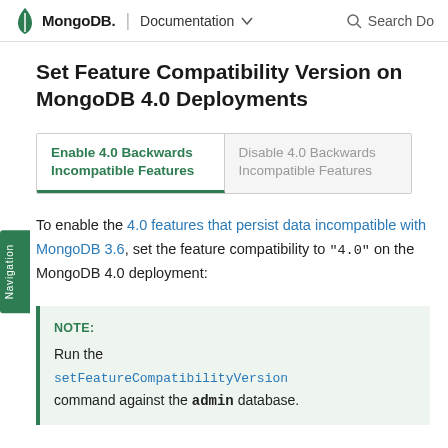MongoDB. | Documentation ▼   🔍 Search Do
Set Feature Compatibility Version on MongoDB 4.0 Deployments
Enable 4.0 Backwards Incompatible Features (tab active) | Disable 4.0 Backwards Incompatible Features (tab inactive)
To enable the 4.0 features that persist data incompatible with MongoDB 3.6, set the feature compatibility to "4.0" on the MongoDB 4.0 deployment:
NOTE:
Run the setFeatureCompatibilityVersion command against the admin database.